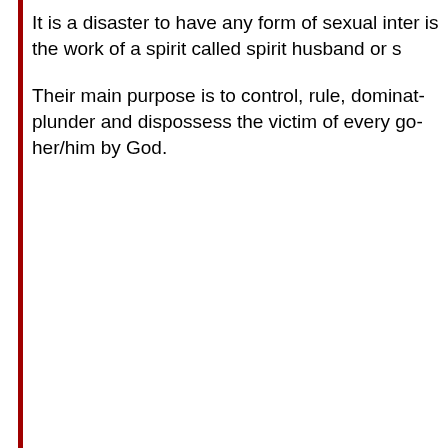It is a disaster to have any form of sexual inter... is the work of a spirit called spirit husband or s...
Their main purpose is to control, rule, dominat... plunder and dispossess the victim of every go... her/him by God.